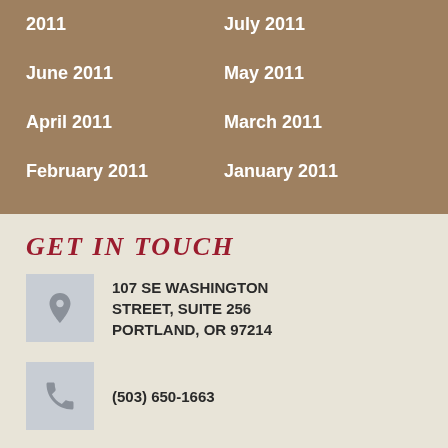2011
July 2011
June 2011
May 2011
April 2011
March 2011
February 2011
January 2011
GET IN TOUCH
107 SE WASHINGTON STREET, SUITE 256 PORTLAND, OR 97214
(503) 650-1663
OFFICE@EQUINEFACILITYDESIGN.COM
EQUINEFACILITYDESIGN.COM